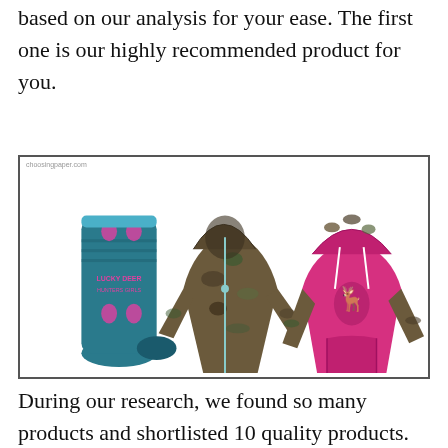based on our analysis for your ease. The first one is our highly recommended product for you.
[Figure (photo): Three hunting/outdoor apparel items displayed side by side: blue patterned deer socks on the left, a camouflage zip-up hoodie jacket in the middle, and a pink hoodie with camouflage sleeves and deer graphic on the right. Watermark reads 'choosingpaper.com'.]
During our research, we found so many products and shortlisted 10 quality products. We collected and analyzed 34621 customer reviews through our big